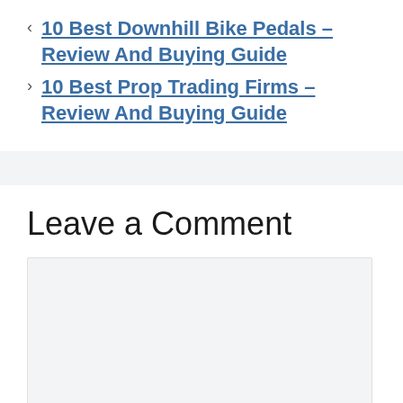< 10 Best Downhill Bike Pedals – Review And Buying Guide
> 10 Best Prop Trading Firms – Review And Buying Guide
Leave a Comment